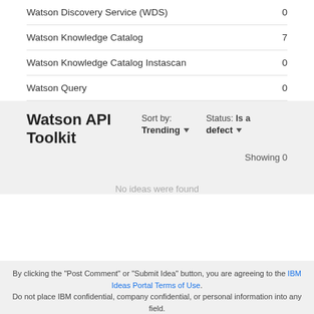Watson Discovery Service (WDS)  0
Watson Knowledge Catalog  7
Watson Knowledge Catalog Instascan  0
Watson Query  0
Watson API Toolkit
Sort by: Trending ▾
Status: Is a defect ▾
Showing 0
No ideas were found
By clicking the "Post Comment" or "Submit Idea" button, you are agreeing to the IBM Ideas Portal Terms of Use. Do not place IBM confidential, company confidential, or personal information into any field.